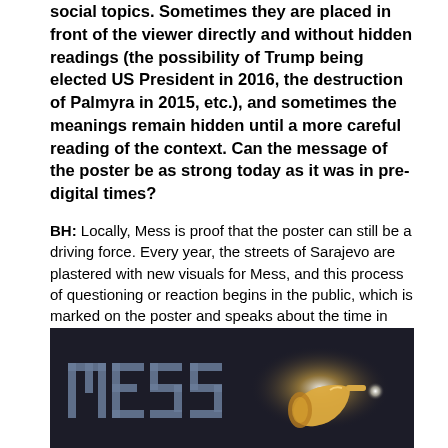social topics. Sometimes they are placed in front of the viewer directly and without hidden readings (the possibility of Trump being elected US President in 2016, the destruction of Palmyra in 2015, etc.), and sometimes the meanings remain hidden until a more careful reading of the context. Can the message of the poster be as strong today as it was in pre-digital times?
BH: Locally, Mess is proof that the poster can still be a driving force. Every year, the streets of Sarajevo are plastered with new visuals for Mess, and this process of questioning or reaction begins in the public, which is marked on the poster and speaks about the time in which we live. Although, this year everything is topsy-turvy, during the time of the Coronavirus, so we have not finished the story of 2020 yet.
[Figure (photo): Dark atmospheric image showing the word MESS in large block letters on the left side, and a golden trumpet or horn-like object emitting bright light on the right side, against a dark textured background.]